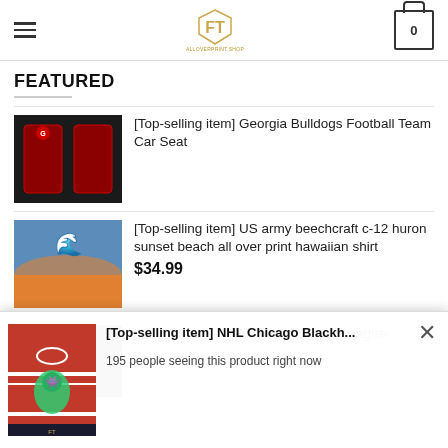[Figure (logo): Gold geometric logo with stylized F and T letters, shopping cart with 0 badge, hamburger menu icon]
FEATURED
[Top-selling item] Georgia Bulldogs Football Team Car Seat
[Top-selling item] US army beechcraft c-12 huron sunset beach all over print hawaiian shirt
$34.99
[Top-selling item] National Hockey League
[Top-selling item] NHL Chicago Blackh...
195 people seeing this product right now